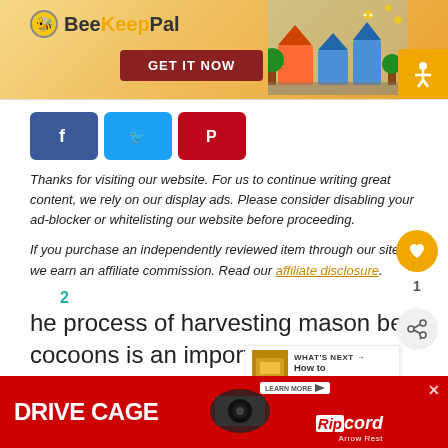[Figure (screenshot): BeeKeepPal banner advertisement with 'GET IT NOW' button and illustrated beehive scene]
[Figure (other): Social media share buttons: Facebook (blue), Twitter (light blue), Pinterest (red)]
Thanks for visiting our website. For us to continue writing great content, we rely on our display ads. Please consider disabling your ad-blocker or whitelisting our website before proceeding.
If you purchase an independently reviewed item through our site, we earn an affiliate commission. Read our affiliate disclosure.
The process of harvesting mason bee cocoons is an important one. Harvesting in this context does not mean honey harvesting. Mason bees are...
[Figure (screenshot): Bottom advertisement for 'Drive Cage' by Ripcord Arrow Rest with close button]